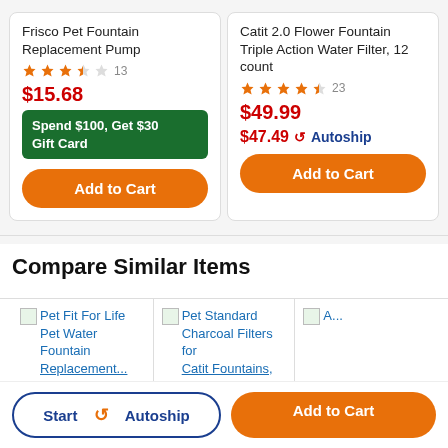Frisco Pet Fountain Replacement Pump
3.5 stars, 13 reviews
$15.68
Spend $100, Get $30 Gift Card
Add to Cart
Catit 2.0 Flower Fountain Triple Action Water Filter, 12 count
4 stars, 23 reviews
$49.99
$47.49 Autoship
Add to Cart
Compare Similar Items
[Figure (screenshot): Pet Fit For Life Pet Water Fountain Replacement thumbnail]
Pet Fit For Life Pet Water Fountain Replacement...
[Figure (screenshot): Pet Standard Charcoal Filters for Catit Fountains, 6 thumbnail]
Pet Standard Charcoal Filters for Catit Fountains, 6...
Start Autoship
Add to Cart